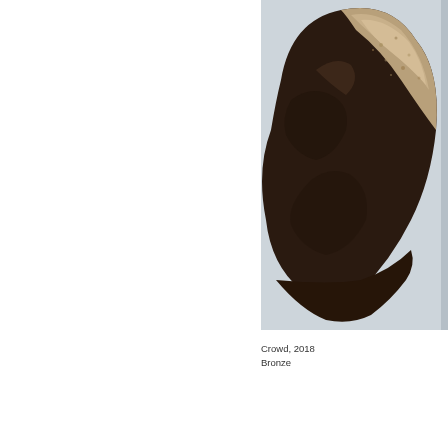[Figure (photo): Close-up photograph of a bronze sculpture titled 'Crowd, 2018'. The sculpture shows a rough, textured form with dark brown and sandy/beige tones against a light grey-blue background. The object appears stone-like or organic in shape, photographed from below against a neutral studio backdrop.]
Crowd, 2018
Bronze